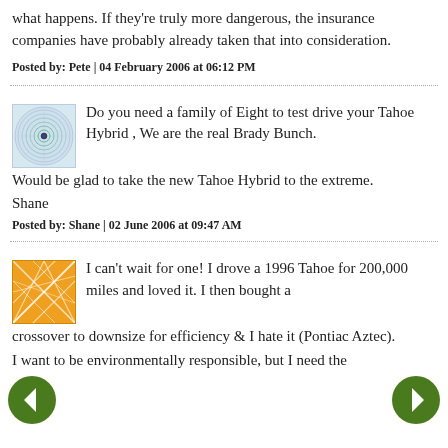what happens. If they're truly more dangerous, the insurance companies have probably already taken that into consideration.
Posted by: Pete | 04 February 2006 at 06:12 PM
Do you need a family of Eight to test drive your Tahoe Hybrid , We are the real Brady Bunch. Would be glad to take the new Tahoe Hybrid to the extreme.
Shane
Posted by: Shane | 02 June 2006 at 09:47 AM
I can't wait for one! I drove a 1996 Tahoe for 200,000 miles and loved it. I then bought a crossover to downsize for efficiency & I hate it (Pontiac Aztec).
I want to be environmentally responsible, but I need the